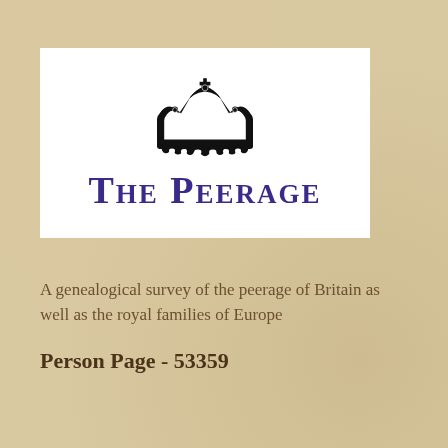[Figure (logo): The Peerage logo: a black heraldic crown above the text 'THE PEERAGE' in large purple small-caps serif font, on a white background rectangle.]
A genealogical survey of the peerage of Britain as well as the royal families of Europe
Person Page - 53359